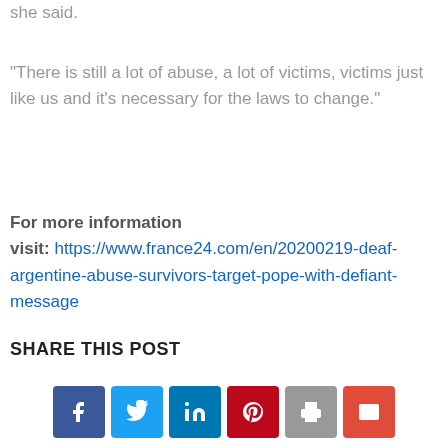she said.
“There is still a lot of abuse, a lot of victims, victims just like us and it’s necessary for the laws to change.”
For more information visit: https://www.france24.com/en/20200219-deaf-argentine-abuse-survivors-target-pope-with-defiant-message
SHARE THIS POST